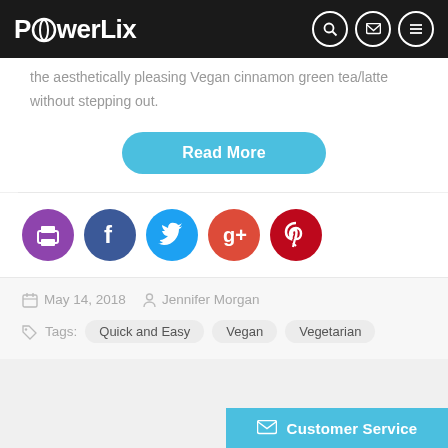PowerLix
the aesthetically pleasing Vegan cinnamon green tea/latte without stepping out.
Read More
[Figure (other): Social sharing icons: print (purple), Facebook (blue), Twitter (light blue), Google+ (red-orange), Pinterest (dark red)]
May 14, 2018  Jennifer Morgan
Tags:  Quick and Easy  Vegan  Vegetarian
Customer Service